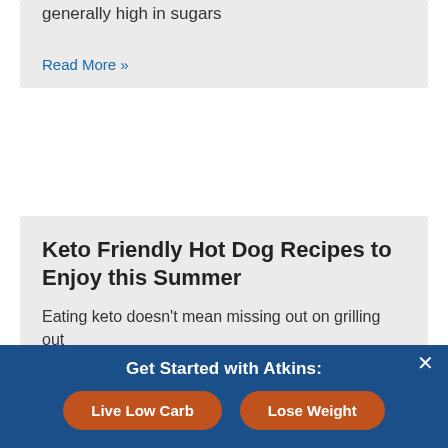generally high in sugars
Read More »
Keto Friendly Hot Dog Recipes to Enjoy this Summer
Eating keto doesn't mean missing out on grilling out
Read More »
Get Started with Atkins:
Live Low Carb
Lose Weight